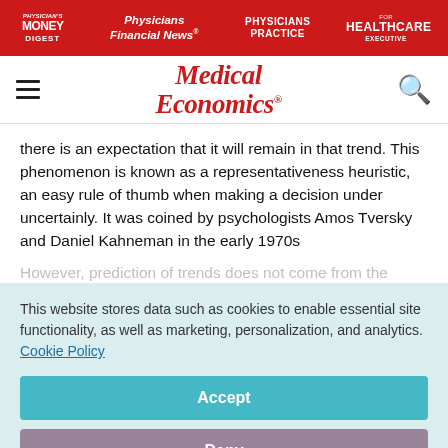Physician's Money Digest | Physicians Financial News | Physicians Practice | Healthcare Executive
Medical Economics
there is an expectation that it will remain in that trend. This phenomenon is known as a representativeness heuristic, an easy rule of thumb when making a decision under uncertainly. It was coined by psychologists Amos Tversky and Daniel Kahneman in the early 1970s
This website stores data such as cookies to enable essential site functionality, as well as marketing, personalization, and analytics. Cookie Policy
Accept
Deny